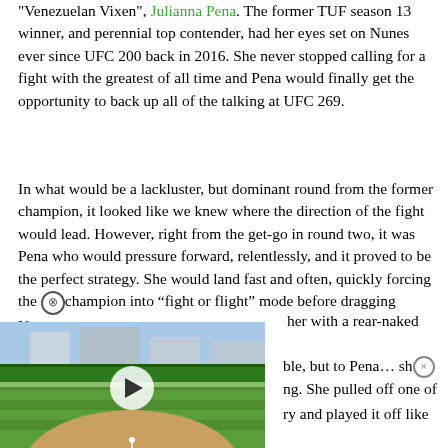"Venezuelan Vixen", Julianna Pena. The former TUF season 13 winner, and perennial top contender, had her eyes set on Nunes ever since UFC 200 back in 2016. She never stopped calling for a fight with the greatest of all time and Pena would finally get the opportunity to back up all of the talking at UFC 269.
In what would be a lackluster, but dominant round from the former champion, it looked like we knew where the direction of the fight would lead. However, right from the get-go in round two, it was Pena who would pressure forward, relentlessly, and it proved to be the perfect strategy. She would land fast and often, quickly forcing the champion into “fight or flight” mode before dragging Nunes [down and] finishing her with a rear-naked choke.
[Figure (screenshot): Embedded video player showing a baseball game being played in a stadium. A play button is visible in the center. A red scoreboard strip is at the bottom.]
[It may seem unbeliev]able, but to Pena... she knew it [was happen]ing. She pulled off one of the [greatest upsets in histo]ry and played it off like a